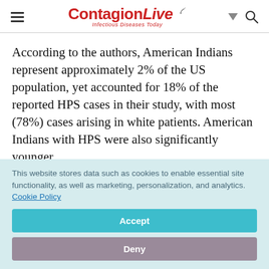ContagionLive — Infectious Diseases Today
According to the authors, American Indians represent approximately 2% of the US population, yet accounted for 18% of the reported HPS cases in their study, with most (78%) cases arising in white patients. American Indians with HPS were also significantly younger
This website stores data such as cookies to enable essential site functionality, as well as marketing, personalization, and analytics. Cookie Policy
Accept
Deny